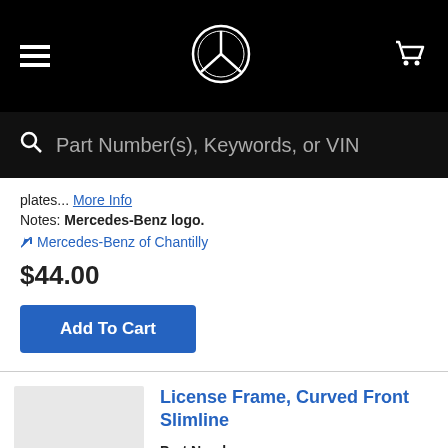Mercedes-Benz parts store header with hamburger menu, Mercedes-Benz logo, and cart icon
Part Number(s), Keywords, or VIN
plates... More Info
Notes: Mercedes-Benz logo.
Mercedes-Benz of Chantilly
$44.00
Add To Cart
License Frame, Curved Front Slimline
Part Number: Q-6-88-0103
Browse more in Exterior - License Frame
Other Names: Slimline Frame - Stainless Steel - Curved, License Plate Frame 4 Hole Slimline Curv, Slimline Frame (Stainless Steel, Curved)
Description: Curved Front Slimline Frame -